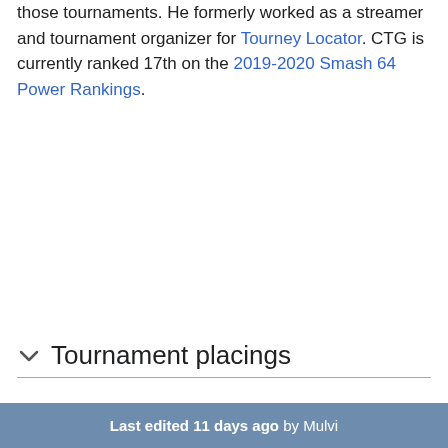those tournaments. He formerly worked as a streamer and tournament organizer for Tourney Locator. CTG is currently ranked 17th on the 2019-2020 Smash 64 Power Rankings.
Tournament placings
Last edited 11 days ago by Mulvi